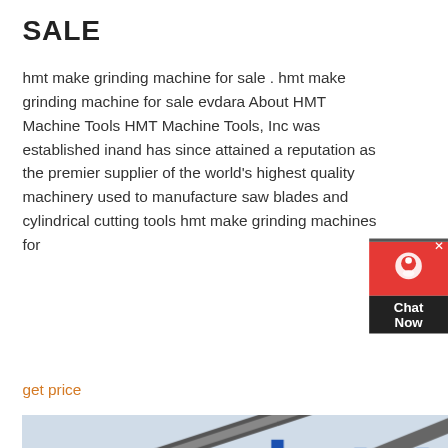SALE
hmt make grinding machine for sale . hmt make grinding machine for sale evdara About HMT Machine Tools HMT Machine Tools, Inc was established inand has since attained a reputation as the premier supplier of the world's highest quality machinery used to manufacture saw blades and cylindrical cutting tools hmt make grinding machines for
get price
[Figure (photo): Industrial heavy machinery / grinding machine with blue steel frame structure, conveyor belts, yellow crusher equipment, and large storage hoppers at an industrial facility]
SCECANDS HMT TOOL CUTTER GRINDING MACHINE SALES IN